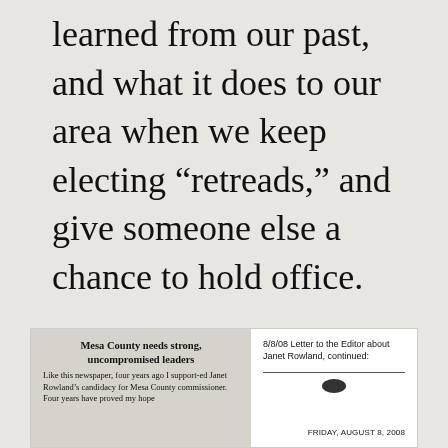learned from our past, and what it does to our area when we keep electing “retreads,” and give someone else a chance to hold office.
[Figure (screenshot): Bottom portion showing two panels: left panel is a newspaper clipping with headline 'Mesa County needs strong, uncompromised leaders' and body text beginning 'Like this newspaper, four years ago I support-ed Janet Rowland’s candidacy for Mesa County commissioner. Four years have proved my hope'; right panel shows text '8/8/08 Letter to the Editor about Janet Rowland, continued:' with a horizontal rule, an oval decoration, and 'FRIDAY, AUGUST 8, 2008' at the bottom right.]